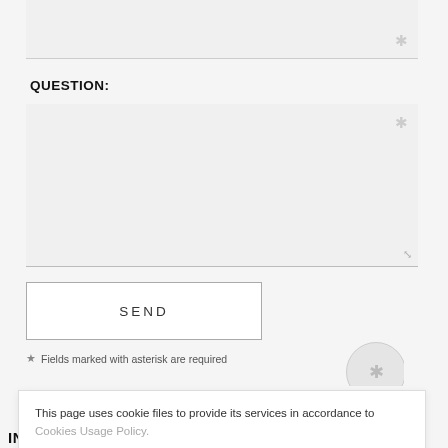[Figure (screenshot): A text input field (top of page, partially visible) with a grey asterisk in the bottom-right corner indicating a required field.]
QUESTION:
[Figure (screenshot): A large textarea input box with a grey asterisk in the top-right and a resize handle in the bottom-right.]
[Figure (screenshot): A SEND button with a thin border.]
* Fields marked with asterisk are required
[Figure (screenshot): A partially visible circular element in the lower right area of the page.]
This page uses cookie files to provide its services in accordance to Cookies Usage Policy.
[Figure (screenshot): A Close button (dark background, white text) inside the cookie consent banner.]
INFORMATIONS